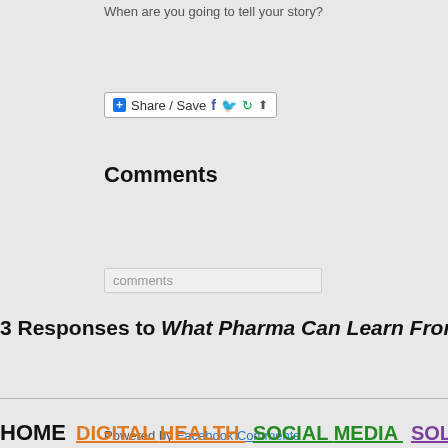When are you going to tell your story?
[Figure (screenshot): Share/Save social sharing button with Facebook, Twitter, and other social media icons]
Comments
comments
Powered by Facebook Comments
3 Responses to What Pharma Can Learn From
HOME  DIGITAL HEALTH  SOCIAL MEDIA  SOLUTION